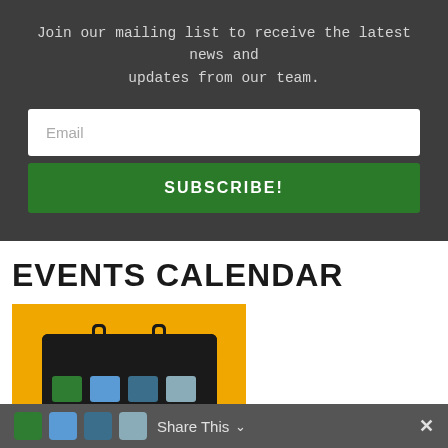Join our mailing list to receive the latest news and updates from our team.
Email
SUBSCRIBE!
EVENTS CALENDAR
[Figure (illustration): Yellow calendar icon with dark calendar body showing date grid cells]
Share This ∨